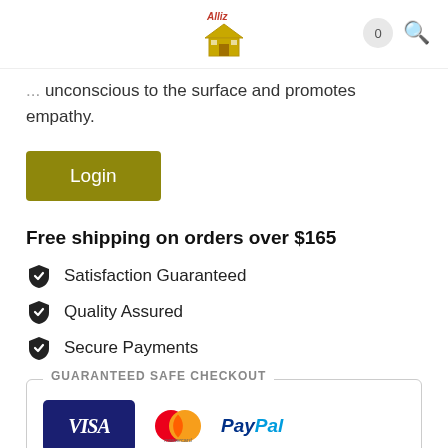Alliz (logo)
unconscious to the surface and promotes empathy.
Login
Free shipping on orders over $165
Satisfaction Guaranteed
Quality Assured
Secure Payments
GUARANTEED SAFE CHECKOUT
[Figure (other): Payment logos: VISA, Mastercard, PayPal]